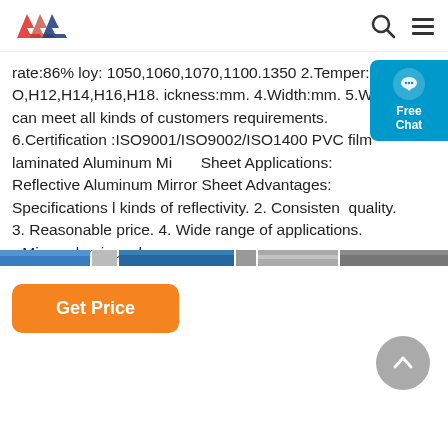AW logo, search icon, menu icon
rate:86% loy: 1050,1060,1070,1100.1350 2.Temper: O,H12,H14,H16,H18. ickness:mm. 4.Width:mm. 5.We can meet all kinds of customers requirements. 6.Certification :ISO9001/ISO9002/ISO1400 PVC film laminated Aluminum Mirror Sheet Applications: Reflective Aluminum Mirror Sheet Advantages: Specifications l kinds of reflectivity. 2. Consistent quality. 3. Reasonable price. 4. Wide range of applications. Mirror aluminum has
[Figure (other): Orange 'Get Price' button]
[Figure (photo): Horizontal image strip showing various aluminum/reflective metal sheet products]
[Figure (other): Scroll-to-top circular arrow button (gray)]